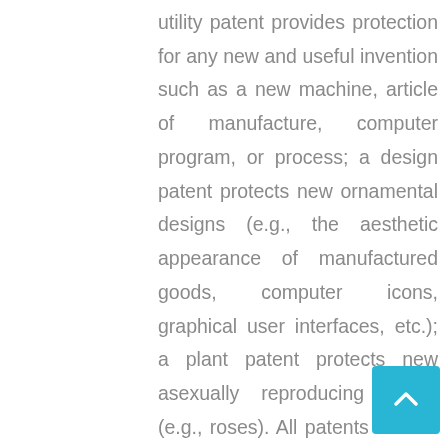utility patent provides protection for any new and useful invention such as a new machine, article of manufacture, computer program, or process; a design patent protects new ornamental designs (e.g., the aesthetic appearance of manufactured goods, computer icons, graphical user interfaces, etc.); a plant patent protects new asexually reproducing plants (e.g., roses). All patents include a description of the invention as well as one or more claims that define the legal metes and bounds of the invention applied for. Determining these bounds accurately is important, because a patent provides a limited but powerful monopoly on what is claimed.